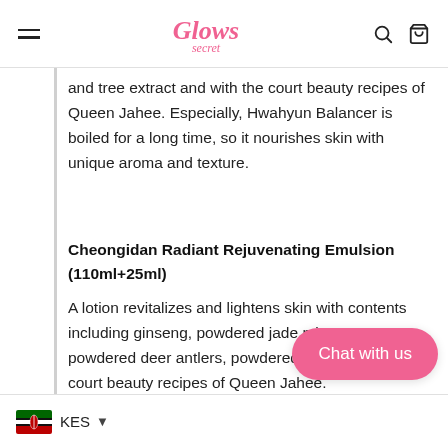Glows Secret
and tree extract and with the court beauty recipes of Queen Jahee. Especially, Hwahyun Balancer is boiled for a long time, so it nourishes skin with unique aroma and texture.
Cheongidan Radiant Rejuvenating Emulsion (110ml+25ml)
A lotion revitalizes and lightens skin with contents including ginseng, powdered jade mixture, powdered deer antlers, powdered gold with the court beauty recipes of Queen Jahee.
Its texture is light and easy to be absorbed by skin. By pumping in moisture and nutrien... moisturized with radiant.
Cheongidan Radiant Regenerating Cream (25ml)
KES